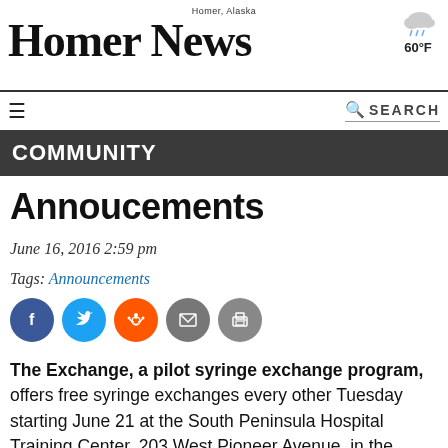Homer, Alaska — HOMER NEWS — 60°F
COMMUNITY
Annoucements
June 16, 2016 2:59 pm
Tags: Announcements
[Figure (other): Social share icons: Facebook, Twitter, Reddit, Email, Print]
The Exchange, a pilot syringe exchange program, offers free syringe exchanges every other Tuesday starting June 21 at the South Peninsula Hospital Training Center, 203 West Pioneer Avenue, in the southwest corner of the building. Exchanges are